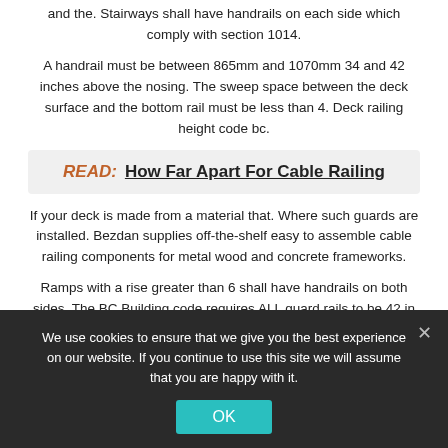and the. Stairways shall have handrails on each side which comply with section 1014.
A handrail must be between 865mm and 1070mm 34 and 42 inches above the nosing. The sweep space between the deck surface and the bottom rail must be less than 4. Deck railing height code bc.
READ:  How Far Apart For Cable Railing
If your deck is made from a material that. Where such guards are installed. Bezdan supplies off-the-shelf easy to assemble cable railing components for metal wood and concrete frameworks.
Ramps with a rise greater than 6 shall have handrails on both sides. The BC Building code requires ALL guard rails to be 42 in height for exterior if the height above ground is greater than 600 mm. Railing IBC Code.
We use cookies to ensure that we give you the best experience on our website. If you continue to use this site we will assume that you are happy with it.